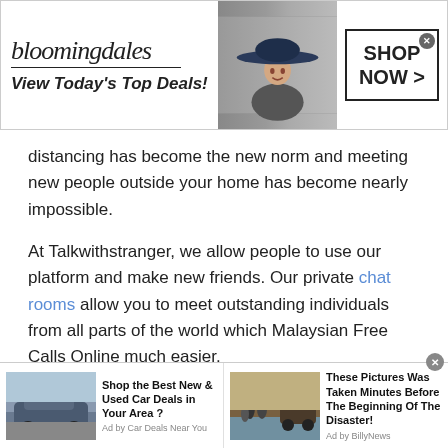[Figure (other): Bloomingdale's advertisement banner with woman in hat, 'View Today's Top Deals!' tagline and 'SHOP NOW >' button]
distancing has become the new norm and meeting new people outside your home has become nearly impossible.
At Talkwithstranger, we allow people to use our platform and make new friends. Our private chat rooms allow you to meet outstanding individuals from all parts of the world which Malaysian Free Calls Online much easier.
Share Knowledge
Since you meet new people from any random part of the
[Figure (other): Bottom advertisement bar with two ads: 'Shop the Best New & Used Car Deals in Your Area?' by Car Deals Near You, and 'These Pictures Was Taken Minutes Before The Beginning Of The Disaster!' by BillyNews]